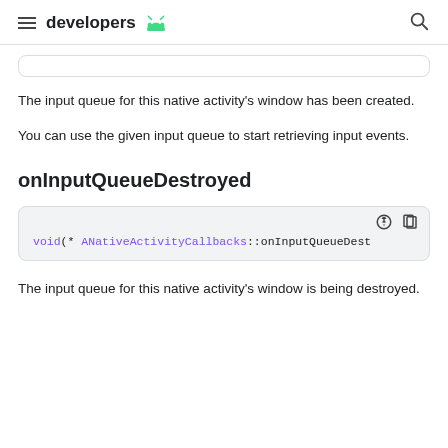developers
The input queue for this native activity's window has been created.
You can use the given input queue to start retrieving input events.
onInputQueueDestroyed
[Figure (screenshot): Code block showing: void(* ANativeActivityCallbacks::onInputQueueDest]
The input queue for this native activity's window is being destroyed.